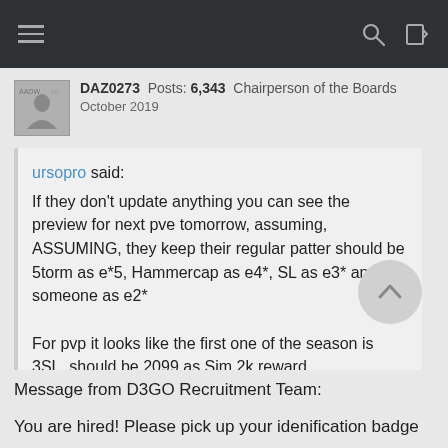Navigation bar with hamburger menu, search icon, and login icon
DAZ0273  Posts: 6,343  Chairperson of the Boards  October 2019
ursopro said:
If they don't update anything you can see the preview for next pve tomorrow, assuming, ASSUMING, they keep their regular patter should be 5torm as e*5, Hammercap as e4*, SL as e3* and someone as e2*

For pvp it looks like the first one of the season is 3SL, should be 2099 as Sim 2k reward
Message from D3GO Recruitment Team:
You are hired! Please pick up your idenification badge